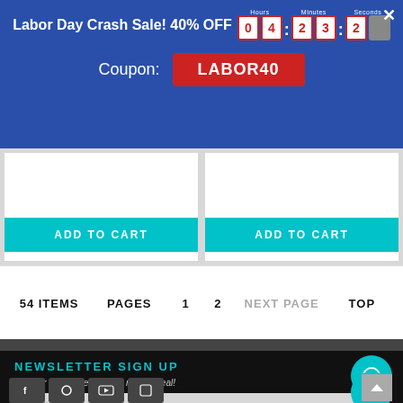Labor Day Crash Sale! 40% OFF  0 4 : 2 3 : 2  Hours Minutes Seconds
Coupon: LABOR40
ADD TO CART
ADD TO CART
54 ITEMS  PAGES  1  2  NEXT PAGE  TOP
NEWSLETTER SIGN UP
Join our Newsletter - Never miss a Deal!
Email Address
SUBSCRIBE